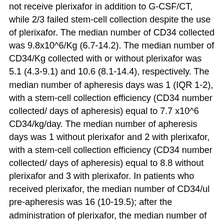not receive plerixafor in addition to G-CSF/CT, while 2/3 failed stem-cell collection despite the use of plerixafor. The median number of CD34 collected was 9.8x10^6/Kg (6.7-14.2). The median number of CD34/Kg collected with or without plerixafor was 5.1 (4.3-9.1) and 10.6 (8.1-14.4), respectively. The median number of apheresis days was 1 (IQR 1-2), with a stem-cell collection efficiency (CD34 number collected/ days of apheresis) equal to 7.7 x10^6 CD34/kg/day. The median number of apheresis days was 1 without plerixafor and 2 with plerixafor, with a stem-cell collection efficiency (CD34 number collected/ days of apheresis) equal to 8.8 without plerixafor and 3 with plerixafor. In patients who received plerixafor, the median number of CD34/ul pre-apheresis was 16 (10-19.5); after the administration of plerixafor, the median number of CD34/ul pre-apheresis increased to 46 (21-81). Non hematological AEs within 30 days after mobilization occurred in 8% of patients (grade 3-4: 2%); all grade and grade 3-4 infections occurred in 2% of patients each. In a